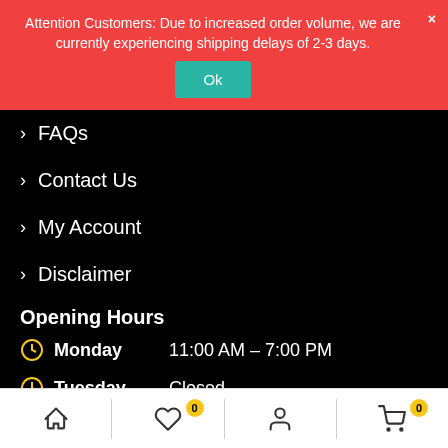Attention Customers: Due to increased order volume, we are currently experiencing shipping delays of 2-3 days.
FAQs
Contact Us
My Account
Disclaimer
Opening Hours
Monday  11:00 AM – 7:00 PM
Tuesday  Closed
Wednesday  11:00 AM – 7:00 PM